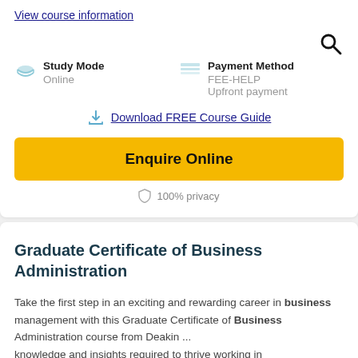View course information
Study Mode: Online
Payment Method: FEE-HELP, Upfront payment
Download FREE Course Guide
Enquire Online
100% privacy
Graduate Certificate of Business Administration
Take the first step in an exciting and rewarding career in business management with this Graduate Certificate of Business Administration course from Deakin ... knowledge and insights required to thrive working in